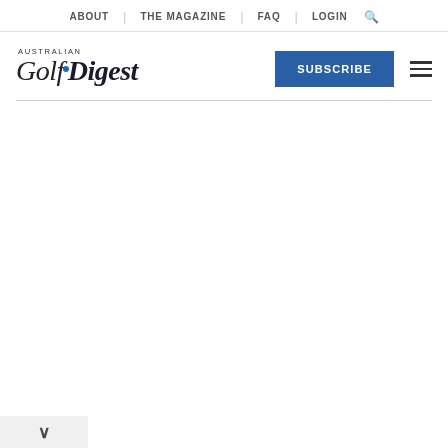ABOUT | THE MAGAZINE | FAQ | LOGIN
[Figure (logo): Australian Golf Digest logo with stylized italic text and blue dot over the i in Digest]
SUBSCRIBE